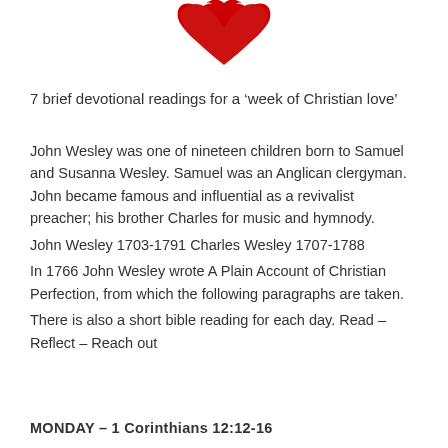[Figure (logo): Red heart or checkmark logo at top center of page]
7 brief devotional readings for a ‘week of Christian love’
John Wesley was one of nineteen children born to Samuel and Susanna Wesley. Samuel was an Anglican clergyman. John became famous and influential as a revivalist preacher; his brother Charles for music and hymnody.
John Wesley 1703-1791 Charles Wesley 1707-1788
In 1766 John Wesley wrote A Plain Account of Christian Perfection, from which the following paragraphs are taken.
There is also a short bible reading for each day. Read – Reflect – Reach out
MONDAY – 1 Corinthians 12:12-16